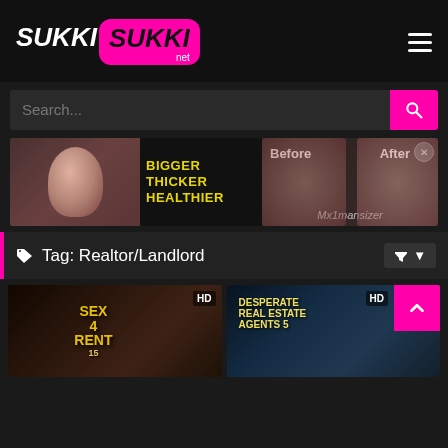[Figure (logo): SukkiSukki.net logo with white bold italic text SUKKI on dark background and SUKKI in bold italic black on pink rounded rectangle with .net below]
[Figure (screenshot): Search bar with placeholder text Search... and pink search button with magnifying glass icon]
[Figure (photo): Advertisement banner for Mx1mansizer with text BIGGER THICKER HEALTHIER in yellow, Before and After labels]
Tag: Realtor/Landlord
[Figure (photo): Thumbnail for Sex 4 Rent 15 with HD badge]
[Figure (photo): Thumbnail for Desperate Real Estate Agents 5 with HD badge]